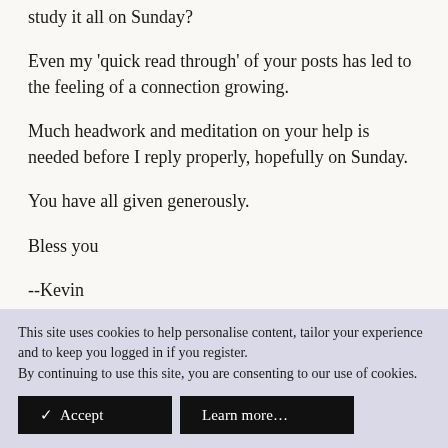study it all on Sunday?
Even my 'quick read through' of your posts has led to the feeling of a connection growing.
Much headwork and meditation on your help is needed before I reply properly, hopefully on Sunday.
You have all given generously.
Bless you
--Kevin
This site uses cookies to help personalise content, tailor your experience and to keep you logged in if you register.
By continuing to use this site, you are consenting to our use of cookies.